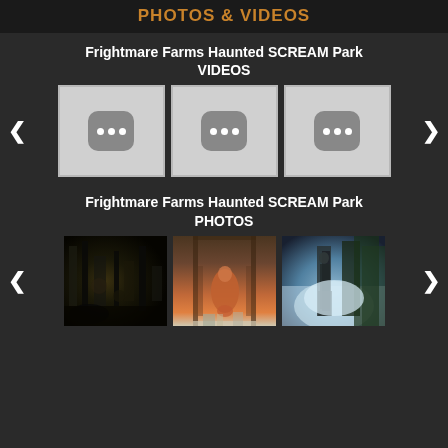PHOTOS & VIDEOS
Frightmare Farms Haunted SCREAM Park VIDEOS
[Figure (screenshot): Three video thumbnail placeholders with grey background and loading/pending icons (three dots in rounded square), arranged in a horizontal carousel with left and right navigation arrows]
Frightmare Farms Haunted SCREAM Park PHOTOS
[Figure (photo): Three haunted attraction photos in a horizontal carousel: (1) dark industrial/junkyard horror scene, (2) person in orange jumpsuit in a lit tunnel corridor, (3) misty atmospheric scene with a figure in formal attire against green foggy background. Left and right navigation arrows on sides.]